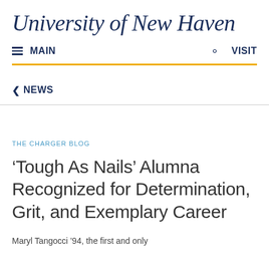University of New Haven
≡ MAIN   🔍   VISIT
< NEWS
THE CHARGER BLOG
'Tough As Nails' Alumna Recognized for Determination, Grit, and Exemplary Career
Maryl Tangocci '94, the first and only...